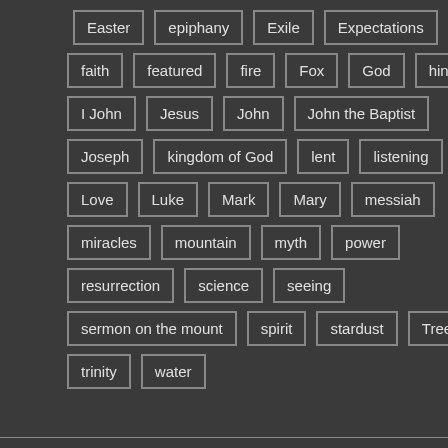Easter
epiphany
Exile
Expectations
faith
featured
fire
Fox
God
hineni
I John
Jesus
John
John the Baptist
Joseph
kingdom of God
lent
listening
Love
Luke
Mark
Mary
messiah
miracles
mountain
myth
power
resurrection
science
seeing
sermon on the mount
spirit
stardust
Trees
trinity
water